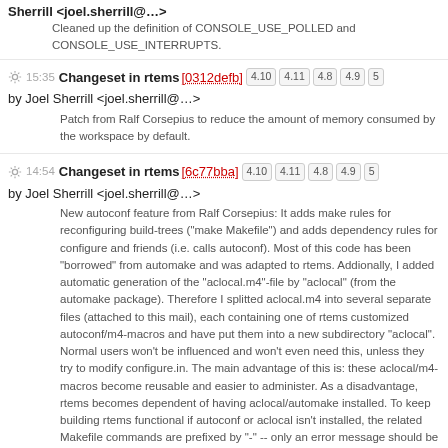Sherrill <joel.sherrill@…>
Cleaned up the definition of CONSOLE_USE_POLLED and CONSOLE_USE_INTERRUPTS.
15:35 Changeset in rtems [0312defb] 4.10 4.11 4.8 4.9 5 by Joel Sherrill <joel.sherrill@…>
Patch from Ralf Corsepius to reduce the amount of memory consumed by the workspace by default.
14:54 Changeset in rtems [6c77bba] 4.10 4.11 4.8 4.9 5 by Joel Sherrill <joel.sherrill@…>
New autoconf feature from Ralf Corsepius: It adds make rules for reconfiguring build-trees ("make Makefile") and adds dependency rules for configure and friends (i.e. calls autoconf). Most of this code has been "borrowed" from automake and was adapted to rtems. Addionally, I added automatic generation of the "aclocal.m4"-file by "aclocal" (from the automake package). Therefore I splitted aclocal.m4 into several separate files (attached to this mail), each containing one of rtems customized autoconf/m4-macros and have put them into a new subdirectory "aclocal". Normal users won't be influenced and won't even need this, unless they try to modify configure.in. The main advantage of this is: these aclocal/m4-macros become reusable and easier to administer. As a disadvantage, rtems becomes dependent of having aclocal/automake installed. To keep building rtems functional if autoconf or aclocal isn't installed, the related Makefile commands are prefixed by "-" -- only an error message should be issued by "make".
14:47 Changeset in rtems [77ea27fc] 4.10 4.11 4.8 4.9 5 by Joel Sherrill <joel.sherrill@…>